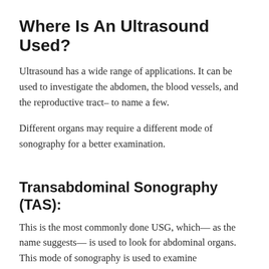Where Is An Ultrasound Used?
Ultrasound has a wide range of applications. It can be used to investigate the abdomen, the blood vessels, and the reproductive tract– to name a few.
Different organs may require a different mode of sonography for a better examination.
Transabdominal Sonography (TAS):
This is the most commonly done USG, which— as the name suggests— is used to look for abdominal organs. This mode of sonography is used to examine